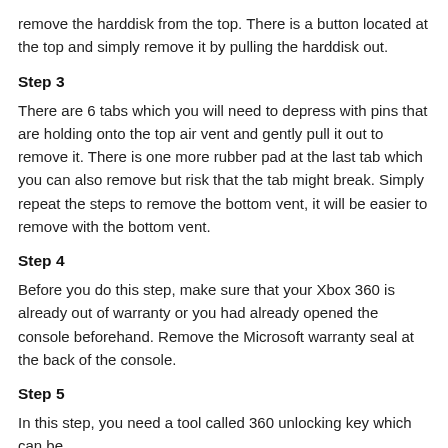remove the harddisk from the top. There is a button located at the top and simply remove it by pulling the harddisk out.
Step 3
There are 6 tabs which you will need to depress with pins that are holding onto the top air vent and gently pull it out to remove it. There is one more rubber pad at the last tab which you can also remove but risk that the tab might break. Simply repeat the steps to remove the bottom vent, it will be easier to remove with the bottom vent.
Step 4
Before you do this step, make sure that your Xbox 360 is already out of warranty or you had already opened the console beforehand. Remove the Microsoft warranty seal at the back of the console.
Step 5
In this step, you need a tool called 360 unlocking key which can be